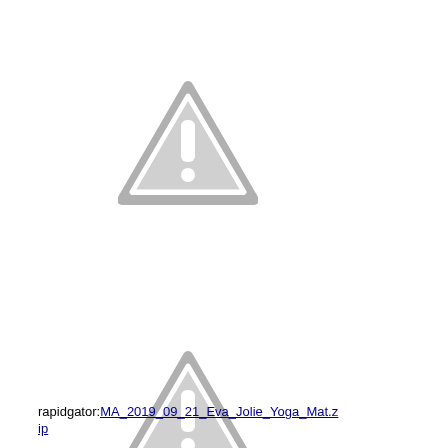[Figure (illustration): Warning triangle icon with exclamation mark, gray color, first instance]
[Figure (illustration): Warning triangle icon with exclamation mark, gray color, second instance]
rapidgator:MA_2019_09_21_Eva_Jolie_Yoga_Mat.zip